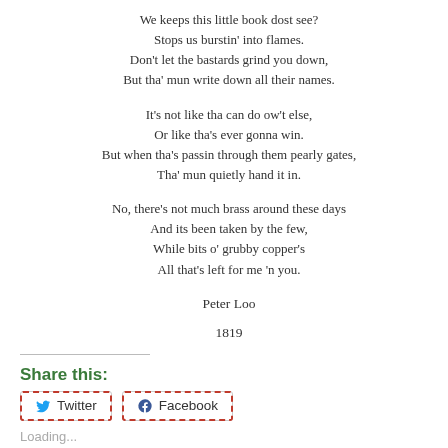We keeps this little book dost see?
Stops us burstin' into flames.
Don't let the bastards grind you down,
But tha' mun write down all their names.

It's not like tha can do ow't else,
Or like tha's ever gonna win.
But when tha's passin through them pearly gates,
Tha' mun quietly hand it in.

No, there's not much brass around these days
And its been taken by the few,
While bits o' grubby copper's
All that's left for me 'n you.

Peter Loo

1819
Share this:
Twitter  Facebook
Loading...